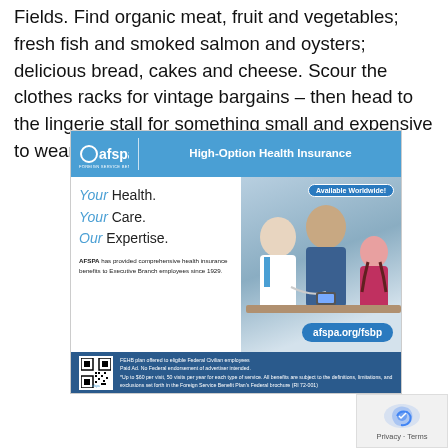Fields. Find organic meat, fruit and vegetables; fresh fish and smoked salmon and oysters; delicious bread, cakes and cheese. Scour the clothes racks for vintage bargains – then head to the lingerie stall for something small and expensive to wear beneath.
[Figure (infographic): AFSPA Foreign Service Benefit Plan advertisement. Blue header with afspa logo and 'High-Option Health Insurance'. Main area shows tagline 'Your Health. Your Care. Our Expertise.' with photo of doctor, father and child. Badge says 'Available Worldwide!' and URL 'afspa.org/fsbp'. Bottom dark blue footer with QR code and fine print text about FEHB plan.]